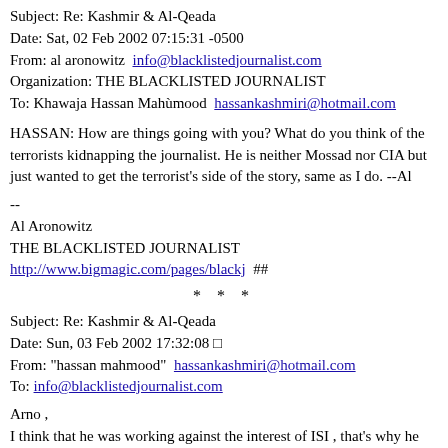Subject: Re: Kashmir & Al-Qeada
Date: Sat, 02 Feb 2002 07:15:31 -0500
From: al aronowitz info@blacklistedjournalist.com
Organization: THE BLACKLISTED JOURNALIST
To: Khawaja Hassan Mahùmood hassankashmiri@hotmail.com
HASSAN: How are things going with you? What do you think of the terrorists kidnapping the journalist. He is neither Mossad nor CIA but just wanted to get the terrorist's side of the story, same as I do. --Al
--
Al Aronowitz
THE BLACKLISTED JOURNALIST
http://www.bigmagic.com/pages/blackj  ##
* * *
Subject: Re: Kashmir & Al-Qeada
Date: Sun, 03 Feb 2002 17:32:08 □
From: "hassan mahmood" hassankashmiri@hotmail.com
To: info@blacklistedjournalist.com
Arno ,
I think that he was working against the interest of ISI , that's why he get the reward . how CIA will act when someone is working